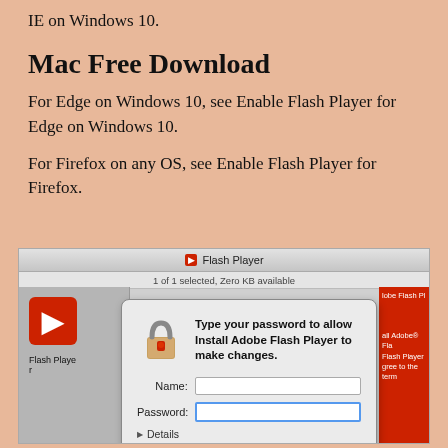IE on Windows 10.
Mac Free Download
For Edge on Windows 10, see Enable Flash Player for Edge on Windows 10.
For Firefox on any OS, see Enable Flash Player for Firefox.
[Figure (screenshot): Mac OS X screenshot showing Flash Player installer window with a password dialog box. The dialog says 'Type your password to allow Install Adobe Flash Player to make changes.' with Name and Password fields, Details toggle, Cancel and OK buttons, and a help button.]